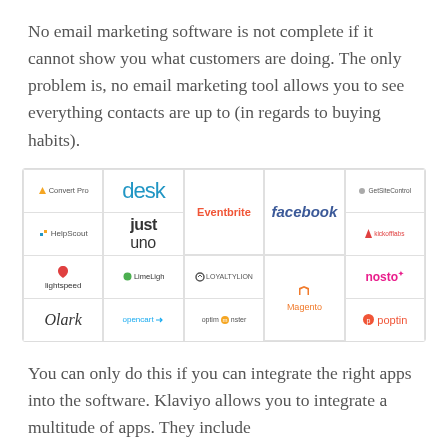No email marketing software is not complete if it cannot show you what customers are doing. The only problem is, no email marketing tool allows you to see everything contacts are up to (in regards to buying habits).
[Figure (infographic): Grid of integration app logos including Convert Pro, desk, Eventbrite, facebook, GetSiteControl, HelpScout, justuno, kickofflabs, lightspeed, LimeLigh, LOYALTYLION, Magento, nosto, Olark, opencart, optimonster, poptin]
You can only do this if you can integrate the right apps into the software. Klaviyo allows you to integrate a multitude of apps. They include